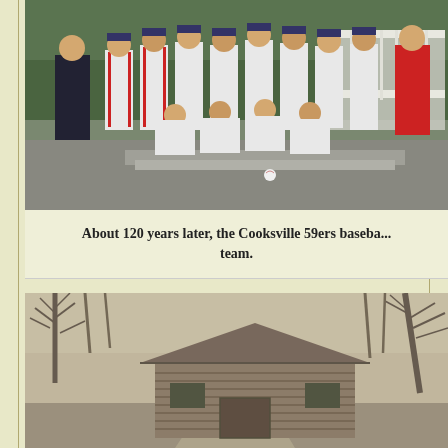[Figure (photo): Color photograph of the Cooksville 59ers youth baseball team posing in white and red uniforms on steps in front of a white railing. Players are arranged in two rows.]
About 120 years later, the Cooksville 59ers baseball team.
[Figure (photo): Black and white (sepia-toned) photograph of an old log cabin surrounded by bare trees in winter or early spring.]